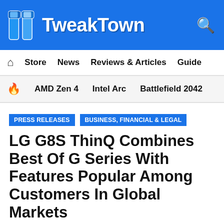TweakTown
Store  News  Reviews & Articles  Guide
AMD Zen 4  Intel Arc  Battlefield 2042
PRESS RELEASES  BUSINESS, FINANCIAL & LEGAL
LG G8S ThinQ Combines Best Of G Series With Features Popular Among Customers In Global Markets
Jul 1, 2019 10:43 PM CDT